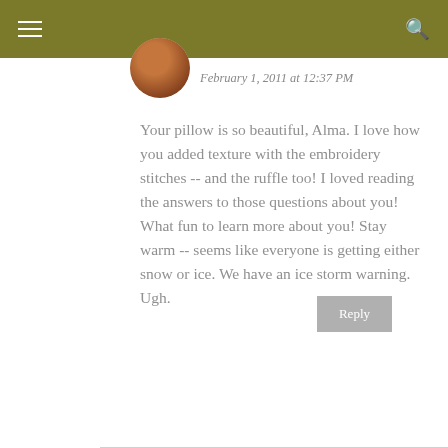≡  🔍
February 1, 2011 at 12:37 PM
Your pillow is so beautiful, Alma. I love how you added texture with the embroidery stitches -- and the ruffle too! I loved reading the answers to those questions about you! What fun to learn more about you! Stay warm -- seems like everyone is getting either snow or ice. We have an ice storm warning. Ugh.
Reply